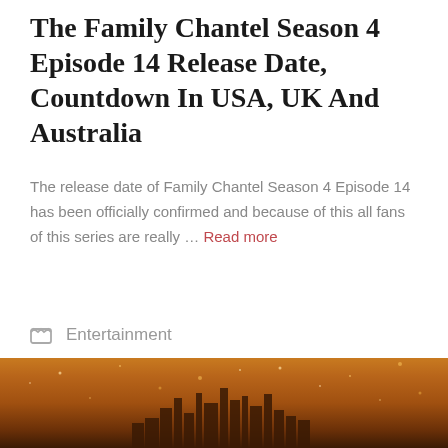The Family Chantel Season 4 Episode 14 Release Date, Countdown In USA, UK And Australia
The release date of Family Chantel Season 4 Episode 14 has been officially confirmed and because of this all fans of this series are really … Read more
Entertainment
Australia, Chantel, Countdown, Date, episode, Family, release, season, USA
[Figure (photo): A golden-toned cityscape silhouette with sparkle/bokeh effects and warm amber lighting, shown as a horizontal strip at the bottom of the page]